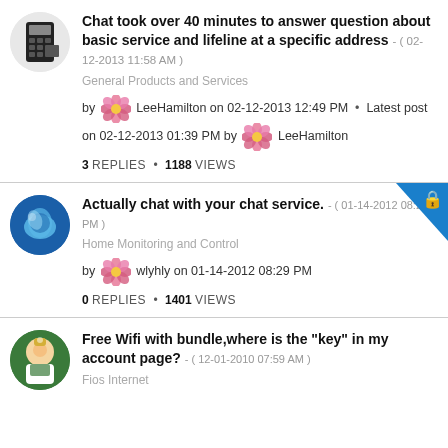Chat took over 40 minutes to answer question about basic service and lifeline at a specific address - ( 02-12-2013 11:58 AM )
General Products and Services
by LeeHamilton on 02-12-2013 12:49 PM • Latest post on 02-12-2013 01:39 PM by LeeHamilton
3 REPLIES • 1188 VIEWS
Actually chat with your chat service. - ( 01-14-2012 08:29 PM )
Home Monitoring and Control
by wlyhly on 01-14-2012 08:29 PM
0 REPLIES • 1401 VIEWS
Free Wifi with bundle,where is the "key" in my account page? - ( 12-01-2010 07:59 AM )
Fios Internet